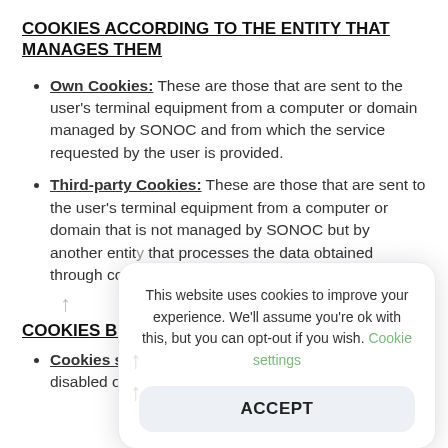COOKIES ACCORDING TO THE ENTITY THAT MANAGES THEM
Own Cookies: These are those that are sent to the user's terminal equipment from a computer or domain managed by SONOC and from which the service requested by the user is provided.
Third-party Cookies: These are those that are sent to the user's terminal equipment from a computer or domain that is not managed by SONOC but by another entity that processes the data obtained through cook...
COOKIES BY D...
Cookies strict... necessary for ... disabled on our systems. They are generally only set
This website uses cookies to improve your experience. We'll assume you're ok with this, but you can opt-out if you wish. Cookie settings
ACCEPT